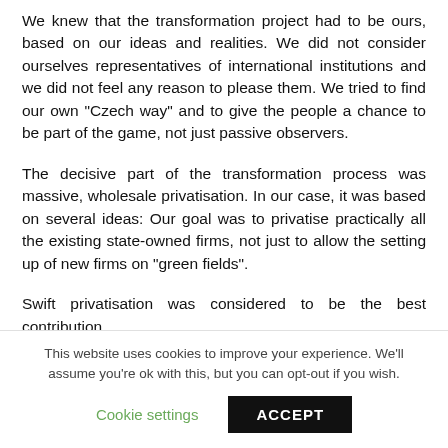We knew that the transformation project had to be ours, based on our ideas and realities. We did not consider ourselves representatives of international institutions and we did not feel any reason to please them. We tried to find our own “Czech way” and to give the people a chance to be part of the game, not just passive observers.
The decisive part of the transformation process was massive, wholesale privatisation. In our case, it was based on several ideas: Our goal was to privatise practically all the existing state-owned firms, not just to allow the setting up of new firms on “green fields”.
Swift privatisation was considered to be the best contribution
This website uses cookies to improve your experience. We'll assume you're ok with this, but you can opt-out if you wish.
Cookie settings
ACCEPT